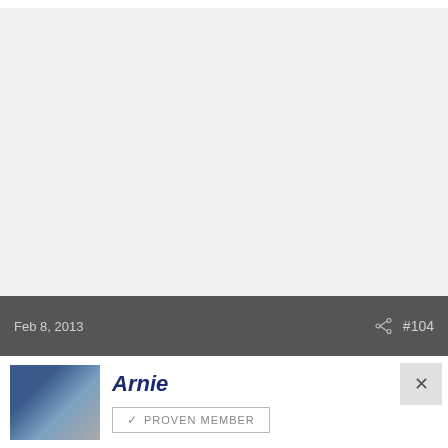[Figure (other): Large light gray placeholder area representing an embedded image or advertisement]
Feb 8, 2013   #104
[Figure (photo): User avatar thumbnail showing a dark blue car]
Arnie
✓ PROVEN MEMBER